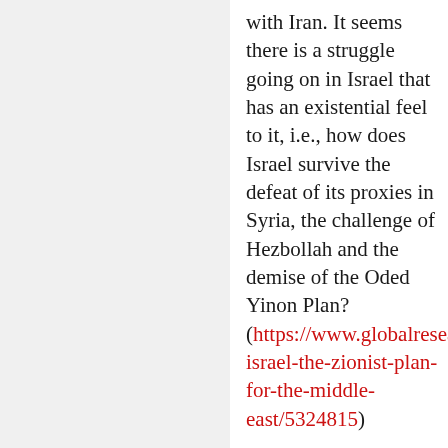with Iran. It seems there is a struggle going on in Israel that has an existential feel to it, i.e., how does Israel survive the defeat of its proxies in Syria, the challenge of Hezbollah and the demise of the Oded Yinon Plan? (https://www.globalresearch.ca/greater-israel-the-zionist-plan-for-the-middle-east/5324815)
The investigation waxes and wanes and features regular ripostes in Israeli-oriented press, See http://www.independent.co.uk/news/world/east/israel-police-benjamin-netanyahu-bribery-evidence-